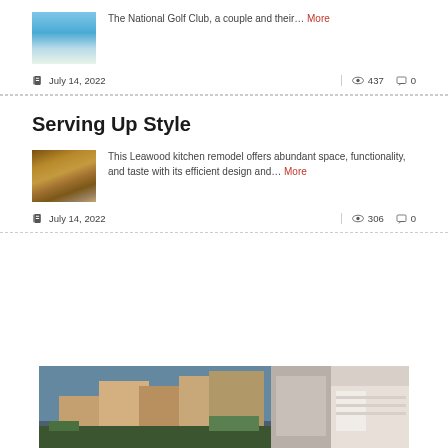[Figure (photo): Thumbnail of a swimming pool area with blue water]
The National Golf Club, a couple and their… More
July 14, 2022  👁 437  💬 0
Serving Up Style
[Figure (photo): Thumbnail of a kitchen remodel with wooden cabinetry]
This Leawood kitchen remodel offers abundant space, functionality, and taste with its efficient design and… More
July 14, 2022  👁 306  💬 0
[Figure (photo): Photo of a modern multi-story home exterior with brick and stucco]
[Figure (photo): Photo of a modern interior staircase with stone wall]